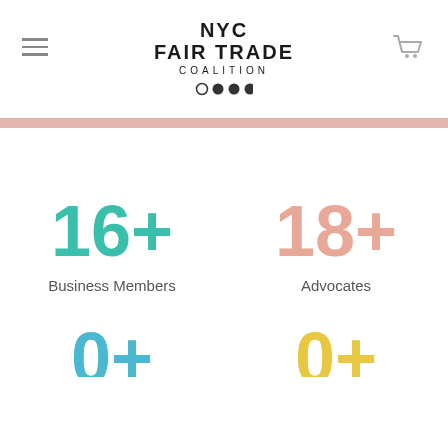NYC FAIR TRADE COALITION
[Figure (infographic): Statistics infographic showing 16+ Business Members and 18+ Advocates, with two more partially visible statistics at the bottom]
16+
Business Members
18+
Advocates
0+
0+